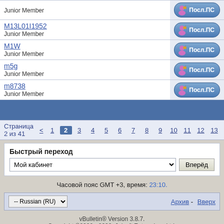| Member | Action |
| --- | --- |
| Junior Member | Посл.ПС |
| M13L01I1952
Junior Member | Посл.ПС |
| M1W
Junior Member | Посл.ПС |
| m5g
Junior Member | Посл.ПС |
| m8738
Junior Member | Посл.ПС |
Страница 2 из 41 < 1 2 3 4 5 6 7 8 9 10 11 12 13 14 15
Быстрый переход
Мой кабинет
Вперёд
Часовой пояс GMT +3, время: 23:10.
Архив - Вверх
-- Russian (RU)
vBulletin® Version 3.8.7.
Copyright ©2000 - 2022, Jelsoft Enterprises Ltd.
Перевод: zCarot